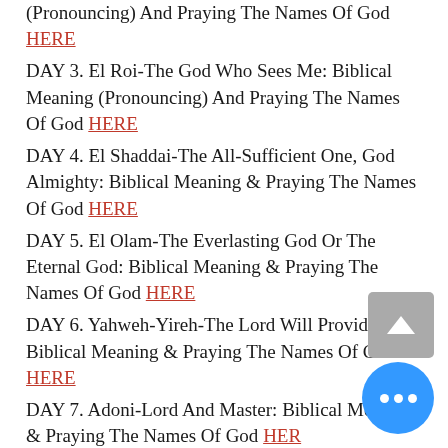(Pronouncing) And Praying The Names Of God HERE
DAY 3. El Roi-The God Who Sees Me: Biblical Meaning (Pronouncing) And Praying The Names Of God HERE
DAY 4. El Shaddai-The All-Sufficient One, God Almighty: Biblical Meaning & Praying The Names Of God HERE
DAY 5. El Olam-The Everlasting God Or The Eternal God: Biblical Meaning & Praying The Names Of God HERE
DAY 6. Yahweh-Yireh-The Lord Will Provide: Biblical Meaning & Praying The Names Of God HERE
DAY 7. Adoni-Lord And Master: Biblical Meaning & Praying The Names Of God HERE
DAY 8. Yahweh Rapha-The Lord Who Heals: Biblical Meaning & Praying The Names Of God HERE